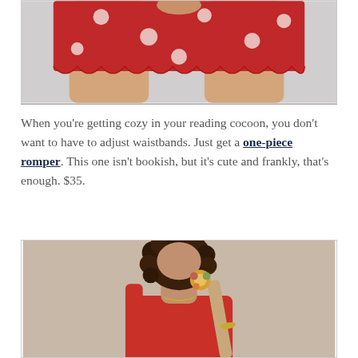[Figure (photo): Cropped photo showing a woman's lower body wearing red patterned shorts with scalloped hems, against a light gray background.]
When you're getting cozy in your reading cocoon, you don't want to have to adjust waistbands. Just get a one-piece romper. This one isn't bookish, but it's cute and frankly, that's enough. $35.
[Figure (photo): Photo of a young woman with curly hair, wearing a red one-shoulder romper and holding a beige bag strap, with a colorful floral hair tie, against a beige background.]